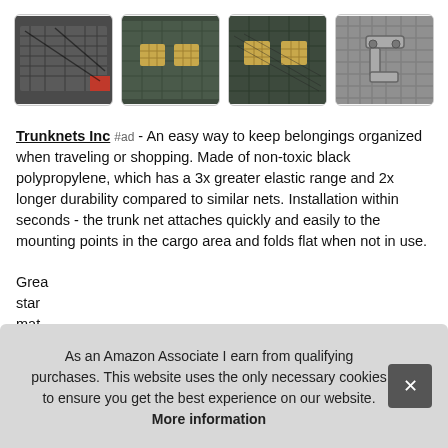[Figure (photo): Four thumbnail product images showing a truck bed cargo net/organizer system: (1) truck bed with net installed, (2) truck bed with two baskets, (3) similar view with baskets and net visible, (4) close-up of a mounting hook/bracket on metal surface.]
Trunknets Inc #ad - An easy way to keep belongings organized when traveling or shopping. Made of non-toxic black polypropylene, which has a 3x greater elastic range and 2x longer durability compared to similar nets. Installation within seconds - the trunk net attaches quickly and easily to the mounting points in the cargo area and folds flat when not in use.
Grea... sta... mat...
As an Amazon Associate I earn from qualifying purchases. This website uses the only necessary cookies to ensure you get the best experience on our website. More information